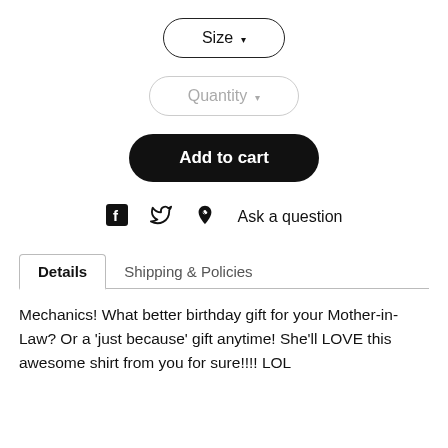[Figure (screenshot): Size dropdown button with border and arrow]
[Figure (screenshot): Quantity dropdown button with light border and gray text/arrow]
[Figure (screenshot): Add to cart black rounded button]
Facebook icon  Twitter icon  Pinterest icon  Ask a question
Details  |  Shipping & Policies
Mechanics! What better birthday gift for your Mother-in-Law? Or a 'just because' gift anytime! She'll LOVE this awesome shirt from you for sure!!!! LOL